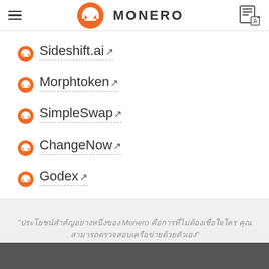MONERO
Sideshift.ai
Morphtoken
SimpleSwap
ChangeNow
Godex
"[obfuscated/non-Latin text block]"